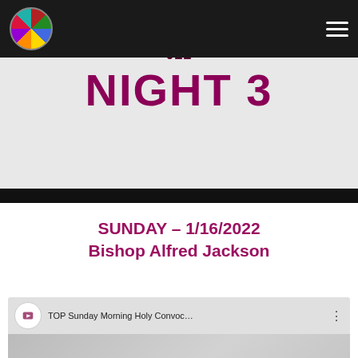Navigation bar with logo and hamburger menu
[Figure (screenshot): Banner showing NIGHT 3 text over light background, with '2022' text above, purple/maroon large bold NIGHT 3 heading]
SUNDAY - 1/16/2022
Bishop Alfred Jackson
[Figure (screenshot): YouTube video embed showing 'TOP Sunday Morning Holy Convoc...' with red play button, church logo, 2022 watermark text, and Messenger chat button overlay]